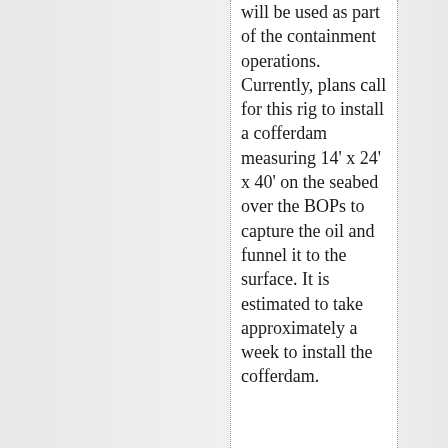will be used as part of the containment operations. Currently, plans call for this rig to install a cofferdam measuring 14' x 24' x 40' on the seabed over the BOPs to capture the oil and funnel it to the surface. It is estimated to take approximately a week to install the cofferdam.